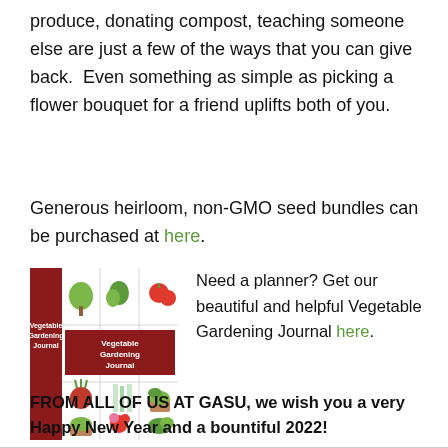produce, donating compost, teaching someone else are just a few of the ways that you can give back.  Even something as simple as picking a flower bouquet for a friend uplifts both of you.
Generous heirloom, non-GMO seed bundles can be purchased at here.
[Figure (illustration): Cover of the Vegetable Gardening Journal book, showing illustrated vegetables in a grid layout with a dark red spine.]
Need a planner? Get our beautiful and helpful Vegetable Gardening Journal here.

FROM ALL OF US AT GASU, we wish you a very Happy New Year and a bountiful 2022!